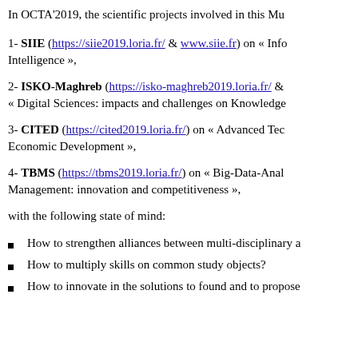In OCTA'2019, the scientific projects involved in this Mu…
1- SIIE (https://siie2019.loria.fr/ & www.siie.fr) on « Info… Intelligence »,
2- ISKO-Maghreb (https://isko-maghreb2019.loria.fr/ & …) on « Digital Sciences: impacts and challenges on Knowledge…
3- CITED (https://cited2019.loria.fr/) on « Advanced Tec… Economic Development »,
4- TBMS (https://tbms2019.loria.fr/) on « Big-Data-Anal… Management: innovation and competitiveness »,
with the following state of mind:
How to strengthen alliances between multi-disciplinary a…
How to multiply skills on common study objects?
How to innovate in the solutions to found and to propose…